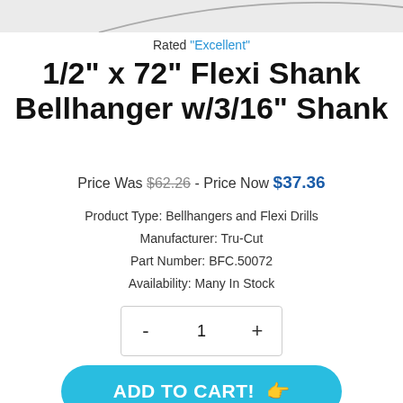[Figure (photo): Partial product image of a long flexible drill bit/shank, showing just the tip portion against a light gray background]
Rated "Excellent"
1/2" x 72" Flexi Shank Bellhanger w/3/16" Shank
Price Was $62.26 - Price Now $37.36
Product Type: Bellhangers and Flexi Drills
Manufacturer: Tru-Cut
Part Number: BFC.50072
Availability: Many In Stock
[Figure (other): Quantity selector widget showing minus button, value 1, and plus button]
[Figure (other): Add to Cart button in teal/cyan color with pointing hand emoji]
[Figure (other): Payment method icons: PayPal, Visa, Mastercard, Discover, American Express, Maestro]